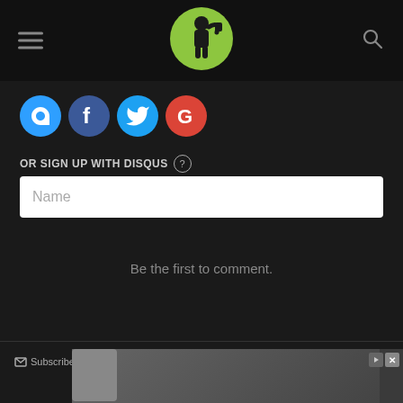Website header with hamburger menu, logo, and search icon
[Figure (logo): Green circular logo with a person drinking/flexing silhouette]
[Figure (illustration): Social login icons: Disqus (blue D), Facebook (blue f), Twitter (blue bird), Google (red G)]
OR SIGN UP WITH DISQUS ?
Name
Be the first to comment.
Subscribe  Add Disqus  Do Not Sell My Data   DISQUS